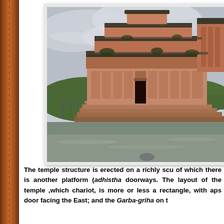[Figure (photo): Photograph of an ancient South Indian Hindu temple structure, partially submerged or surrounded by water, with ornate carved stonework, multi-tiered tower (shikhara), overcast cloudy sky, and green hills in the background.]
The temple structure is erected on a richly scu of which there is another platform (adhistha doorways. The layout of the temple ,which chariot, is more or less a rectangle, with aps door facing the East; and the Garba-griha on t